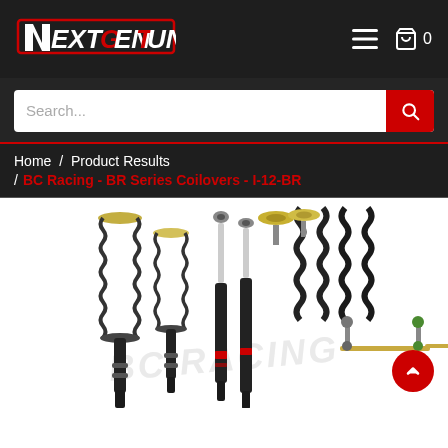[Figure (logo): NextGenTuning logo — white and red text on dark background]
Search...
Home / Product Results / BC Racing - BR Series Coilovers - I-12-BR
[Figure (photo): BC Racing BR Series coilovers product photo showing shock absorbers, springs, and hardware components laid out on white background with BC Racing watermark]